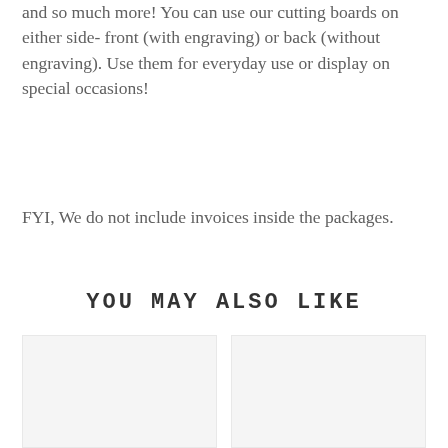and so much more! You can use our cutting boards on either side- front (with engraving) or back (without engraving). Use them for everyday use or display on special occasions!
FYI, We do not include invoices inside the packages.
YOU MAY ALSO LIKE
[Figure (photo): Product image placeholder (left)]
[Figure (photo): Product image placeholder (right)]